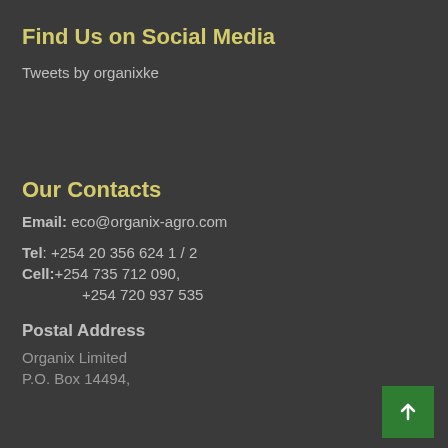Find Us on Social Media
Tweets by organixke
Our Contacts
Email: eco@organix-agro.com
Tel: +254 20 356 624 1 / 2
Cell:+254 735 712 090, +254 720 937 535
Postal Address
Organix Limited
P.O. Box 14494,